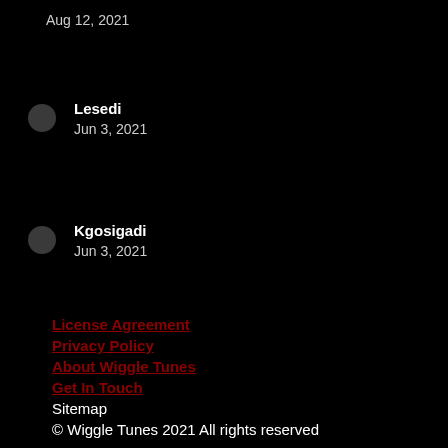Aug 12, 2021
Lesedi
Jun 3, 2021
Kgosigadi
Jun 3, 2021
License Agreement
Privacy Policy
About Wiggle Tunes
Get In Touch
Sitemap
© Wiggle Tunes 2021 All rights reserved